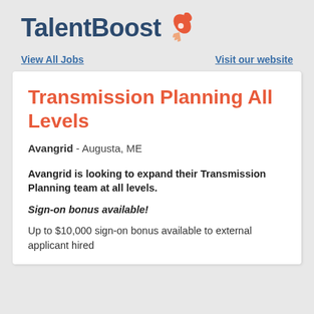TalentBoost
View All Jobs
Visit our website
Transmission Planning All Levels
Avangrid - Augusta, ME
Avangrid is looking to expand their Transmission Planning team at all levels.
Sign-on bonus available!
Up to $10,000 sign-on bonus available to external applicant hired